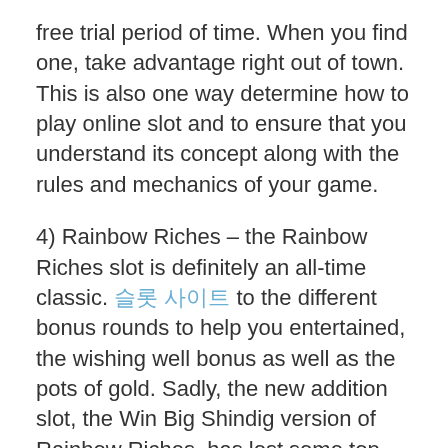free trial period of time. When you find one, take advantage right out of town. This is also one way determine how to play online slot and to ensure that you understand its concept along with the rules and mechanics of your game.
4) Rainbow Riches – the Rainbow Riches slot is definitely an all-time classic. [Korean link] to the different bonus rounds to help you entertained, the wishing well bonus as well as the pots of gold. Sadly, the new addition slot, the Win Big Shindig version of Rainbow Riches, has lost some top games and features that made the original such good fun.
To build chances of winning the sport it will